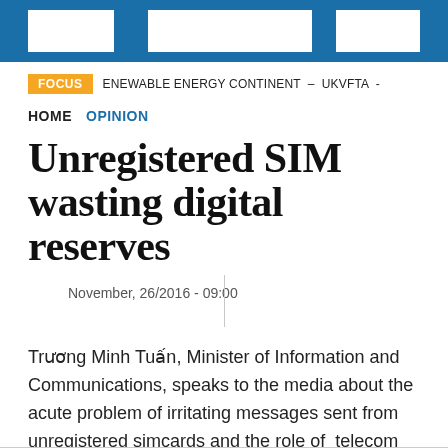FOCUS   ENEWABLE ENERGY CONTINENT  -  UKVFTA  -
HOME   OPINION
Unregistered SIM wasting digital reserves
November, 26/2016 - 09:00
Trương Minh Tuấn, Minister of Information and Communications, speaks to the media about the acute problem of irritating messages sent from unregistered simcards and the role of telecom companies to control them.